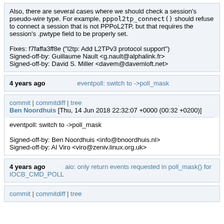Also, there are several cases where we should check a session's pseudo-wire type. For example, pppol2tp_connect() should refuse to connect a session that is not PPPoL2TP, but that requires the session's .pwtype field to be properly set.

Fixes: f7faffa3ff8e ("l2tp: Add L2TPv3 protocol support")
Signed-off-by: Guillaume Nault <g.nault@alphalink.fr>
Signed-off-by: David S. Miller <davem@davemloft.net>
4 years ago    eventpoll: switch to ->poll_mask
commit | commitdiff | tree
Ben Noordhuis [Thu, 14 Jun 2018 22:32:07 +0000 (00:32 +0200)]
eventpoll: switch to ->poll_mask

Signed-off-by: Ben Noordhuis <info@bnoordhuis.nl>
Signed-off-by: Al Viro <viro@zeniv.linux.org.uk>
4 years ago    aio: only return events requested in poll_mask() for IOCB_CMD_POLL
commit | commitdiff | tree